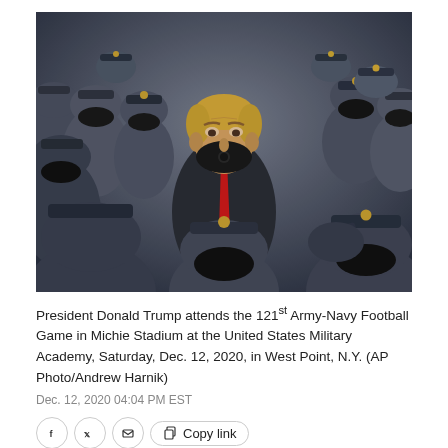[Figure (photo): President Donald Trump standing among military cadets in dark uniforms with gold insignia and black face masks at Michie Stadium. Trump is visible in the center wearing a dark coat, red tie, and black mask with a presidential seal. The cadets surrounding him are wearing grey military uniforms and peaked caps.]
President Donald Trump attends the 121st Army-Navy Football Game in Michie Stadium at the United States Military Academy, Saturday, Dec. 12, 2020, in West Point, N.Y. (AP Photo/Andrew Harnik)
Dec. 12, 2020 04:04 PM EST